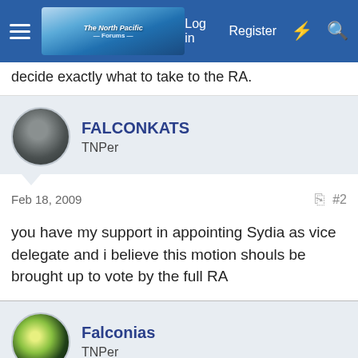The North Pacific forum navigation bar with Log in, Register links
decide exactly what to take to the RA.
FALCONKATS
TNPer
Feb 18, 2009 #2
you have my support in appointing Sydia as vice delegate and i believe this motion shouls be brought up to vote by the full RA
Falconias
TNPer
Feb 18, 2009 #3
Seconded
Grosseschnauzer